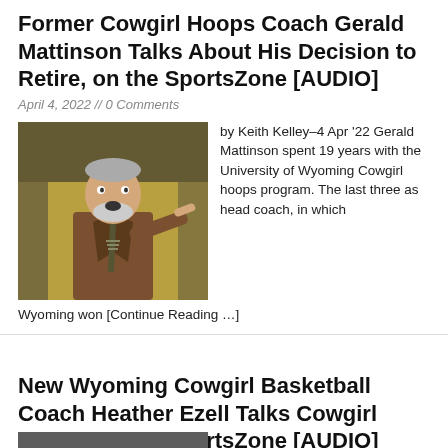Former Cowgirl Hoops Coach Gerald Mattinson Talks About His Decision to Retire, on the SportsZone [AUDIO]
April 4, 2022 // 0 Comments
[Figure (photo): Photo of Gerald Mattinson pointing finger, standing in front of yellow background, wearing brown jacket and striped tie]
by Keith Kelley–4 Apr '22 Gerald Mattinson spent 19 years with the University of Wyoming Cowgirl hoops program. The last three as head coach, in which Wyoming won [Continue Reading …]
New Wyoming Cowgirl Basketball Coach Heather Ezell Talks Cowgirl Hoops on the SportsZone [AUDIO]
March 30, 2022 // 0 Comments
[Figure (photo): Partial photo visible at bottom of page]